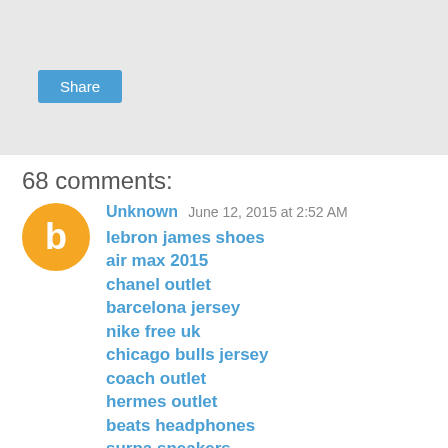[Figure (other): Gray share bar with a blue Share button]
68 comments:
Unknown  June 12, 2015 at 2:52 AM
lebron james shoes
air max 2015
chanel outlet
barcelona jersey
nike free uk
chicago bulls jersey
coach outlet
hermes outlet
beats headphones
surpa sneakers
denver broncos jerseys
boston celtics jersey
manchester united jersey
chicago blackhawks jersey